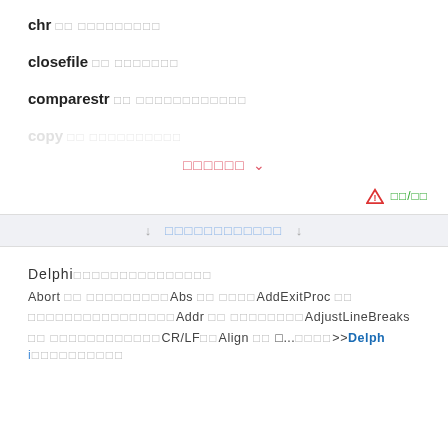chr □□ □□□□□□□□□
closefile □□ □□□□□□□
comparestr □□ □□□□□□□□□□□□
copy □□ □□□□□□□□□□
□□□□□□ ∨
⚠ □□/□□
↓ □□□□□□□□□□□□ ↓
Delphi□□□□□□□□□□□□□□□
Abort □□ □□□□□□□□□Abs □□ □□□□AddExitProc □□ □□□□□□□□□□□□□□□□Addr □□ □□□□□□□□AdjustLineBreaks □□ □□□□□□□□□□□□CR/LF□□Align □□ □...□□□□>>Delphi□□□□□□□□□□